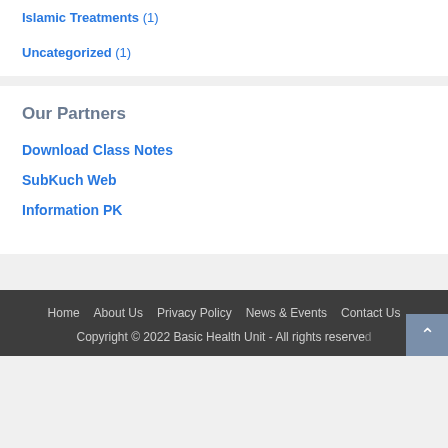Islamic Treatments (1)
Uncategorized (1)
Our Partners
Download Class Notes
SubKuch Web
Information PK
Home   About Us   Privacy Policy   News & Events   Contact Us
Copyright © 2022 Basic Health Unit - All rights reserved